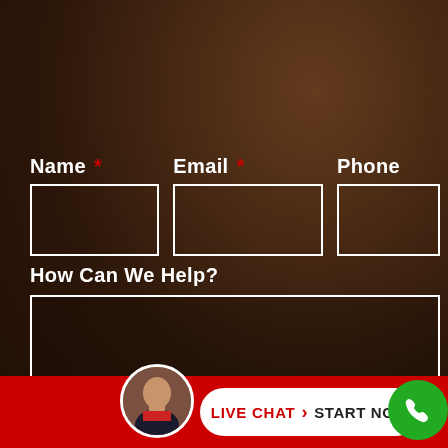[Figure (screenshot): Dark brown blurred background resembling a legal office desk environment]
Name *
Email *
Phone
How Can We Help?
[Figure (infographic): Bottom bar with red background, circular avatar photo of a man in suit, white pill-shaped Live Chat Start Now button with chevron, and green phone icon circle]